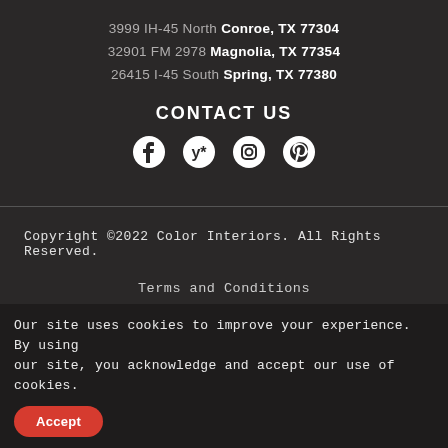3999 IH-45 North Conroe, TX 77304
32901 FM 2978 Magnolia, TX 77354
26415 I-45 South Spring, TX 77380
CONTACT US
[Figure (other): Social media icons: Facebook, Yelp, Instagram, Pinterest]
Copyright ©2022 Color Interiors. All Rights Reserved.
Terms and Conditions
Our site uses cookies to improve your experience. By using our site, you acknowledge and accept our use of cookies.
Accept